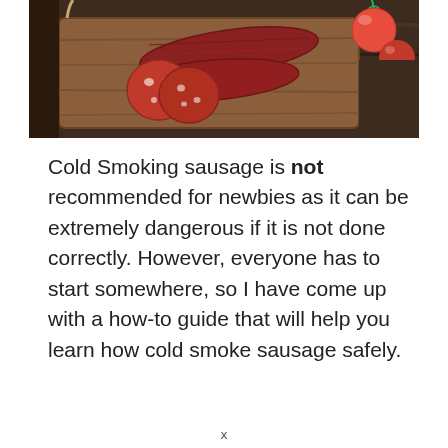[Figure (photo): Photo of sliced cured sausage/salami on a wooden cutting board with cherry tomatoes, on a dark wooden surface]
Cold Smoking sausage is not recommended for newbies as it can be extremely dangerous if it is not done correctly. However, everyone has to start somewhere, so I have come up with a how-to guide that will help you learn how cold smoke sausage safely.